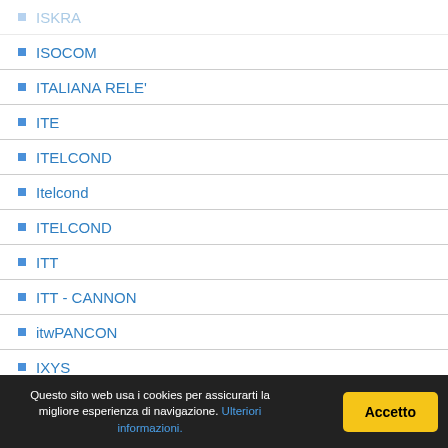ISOCOM
ITALIANA RELE'
ITE
ITELCOND
Itelcond
ITELCOND
ITT
ITT - CANNON
itwPANCON
IXYS
JALCO
JAMICON
JBC
JDS FITEL
JEC
JEL SYSTEM CO.LTD.
Jianghai
JOHNSON
JONES TECH
Joy day industrial
Questo sito web usa i cookies per assicurarti la migliore esperienza di navigazione. Ulteriori informazioni.
Accetto